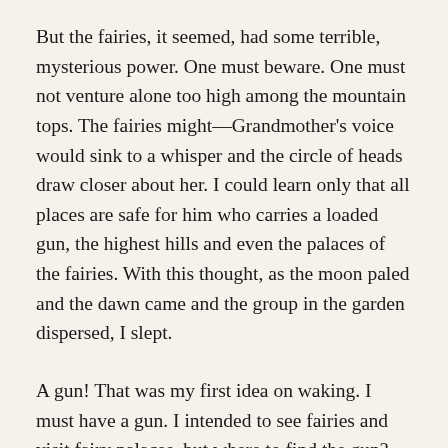But the fairies, it seemed, had some terrible, mysterious power. One must beware. One must not venture alone too high among the mountain tops. The fairies might—Grandmother's voice would sink to a whisper and the circle of heads draw closer about her. I could learn only that all places are safe for him who carries a loaded gun, the highest hills and even the palaces of the fairies. With this thought, as the moon paled and the dawn came and the group in the garden dispersed, I slept.
A gun! That was my first idea on waking. I must have a gun. I intended to see fairies and visit fairy palaces, but where to find the gun? Then I remembered. As soon as I had learned to write at school, an old lady who lived in the neighborhood asked me to write letters for her to her son in America, because she could not write. The first time I went to her house, I noticed a huge, old-fashioned gun hanging on the wall. It had been used, she told me, by